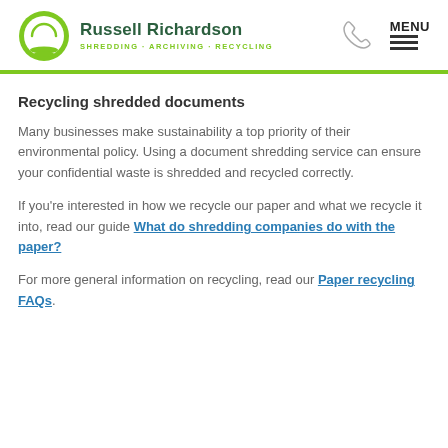Russell Richardson SHREDDING · ARCHIVING · RECYCLING
Recycling shredded documents
Many businesses make sustainability a top priority of their environmental policy. Using a document shredding service can ensure your confidential waste is shredded and recycled correctly.
If you're interested in how we recycle our paper and what we recycle it into, read our guide What do shredding companies do with the paper?
For more general information on recycling, read our Paper recycling FAQs.